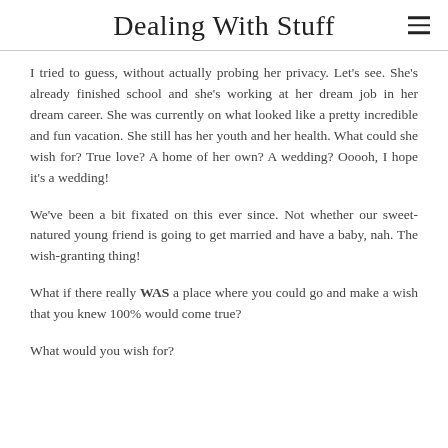Dealing With Stuff
I tried to guess, without actually probing her privacy. Let's see. She's already finished school and she's working at her dream job in her dream career. She was currently on what looked like a pretty incredible and fun vacation. She still has her youth and her health. What could she wish for? True love? A home of her own? A wedding? Ooooh, I hope it's a wedding!
We've been a bit fixated on this ever since. Not whether our sweet-natured young friend is going to get married and have a baby, nah. The wish-granting thing!
What if there really WAS a place where you could go and make a wish that you knew 100% would come true?
What would you wish for?